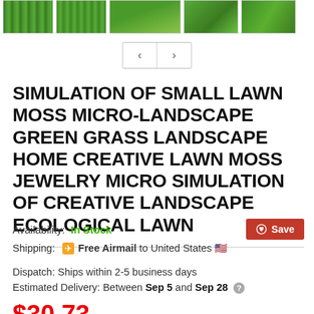[Figure (photo): Row of product thumbnail images showing green grass/moss lawn patches]
[Figure (screenshot): Navigation buttons with left and right arrows for scrolling thumbnails]
SIMULATION OF SMALL LAWN MOSS MICRO-LANDSCAPE GREEN GRASS LANDSCAPE HOME CREATIVE LAWN MOSS JEWELRY MICRO SIMULATION OF CREATIVE LANDSCAPE ECOLOGICAL LAWN
Availability: In Stock
Shipping: ✈ Free Airmail to United States 🇺🇸
Dispatch: Ships within 2-5 business days
Estimated Delivery: Between Sep 5 and Sep 28 ?
$30.73